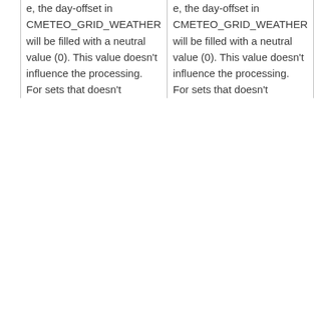| e, the day-offset in CMETEO_GRID_WEATHER will be filled with a neutral value (0). This value doesn't influence the processing. For sets that doesn't | e, the day-offset in CMETEO_GRID_WEATHER will be filled with a neutral value (0). This value doesn't influence the processing. For sets that doesn't |